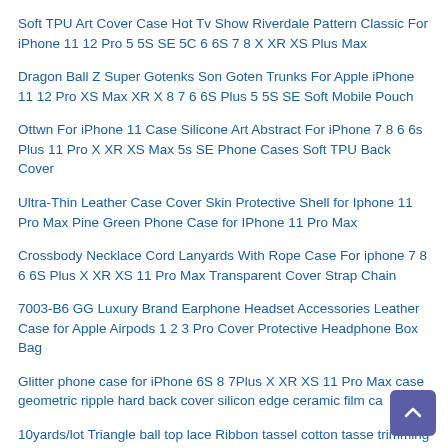Soft TPU Art Cover Case Hot Tv Show Riverdale Pattern Classic For iPhone 11 12 Pro 5 5S SE 5C 6 6S 7 8 X XR XS Plus Max
Dragon Ball Z Super Gotenks Son Goten Trunks For Apple iPhone 11 12 Pro XS Max XR X 8 7 6 6S Plus 5 5S SE Soft Mobile Pouch
Ottwn For iPhone 11 Case Silicone Art Abstract For iPhone 7 8 6 6s Plus 11 Pro X XR XS Max 5s SE Phone Cases Soft TPU Back Cover
Ultra-Thin Leather Case Cover Skin Protective Shell for Iphone 11 Pro Max Pine Green Phone Case for IPhone 11 Pro Max
Crossbody Necklace Cord Lanyards With Rope Case For iphone 7 8 6 6S Plus X XR XS 11 Pro Max Transparent Cover Strap Chain
7003-B6 GG Luxury Brand Earphone Headset Accessories Leather Case for Apple Airpods 1 2 3 Pro Cover Protective Headphone Box Bag
Glitter phone case for iPhone 6S 8 7Plus X XR XS 11 Pro Max case geometric ripple hard back cover silicon edge ceramic film ca
10yards/lot Triangle ball top lace Ribbon tassel cotton tasse trimming fringes for sewing bed sheet clothes curtain decoration